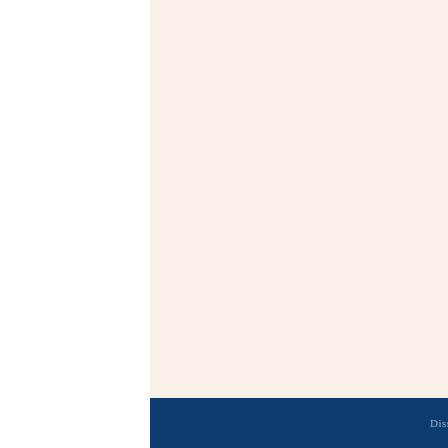[Figure (other): Three pagination dots: one filled dark, one light gray, one medium gray, indicating a carousel or slideshow position indicator on a cream/off-white background panel.]
[Figure (illustration): Partial view of a scientific or geological illustration showing hand-drawn line art with curved contour lines, dotted patterns, filled circles (dots), and open circle markers on a cream/buff paper background. Appears to be a topographic or seismic diagram.]
Dissertation and Studies